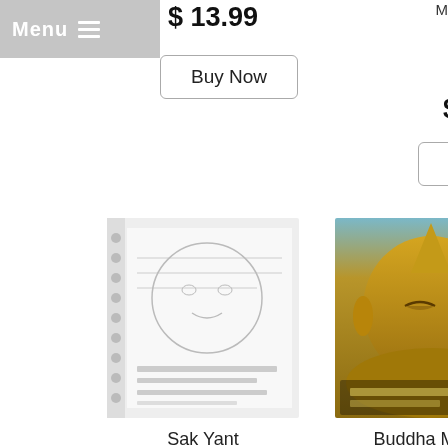Menu
$ 13.99
Buy Now
Megapack save 32$)
SKU 00157
$ 80.00
Buy Now
[Figure (photo): Spiral-bound book with Buddhist tattoo designs, black and white, showing text in Thai script]
Sak Yant Buddhist Tattoos
SKU 00138
$ 39.99
Buy Now
[Figure (photo): Book cover showing golden Buddha statue head with eyes closed, reclining Buddha style, with text overlay]
Buddha Magic Issue 4
SKU 00135
$ 13.99
Buy Now
[Figure (photo): Partial view of a book with dark swirling pattern design on the cover]
[Figure (photo): Partial view of a spiral-bound book with brown/orange cover]